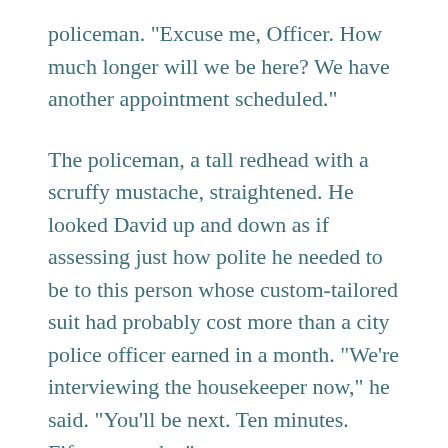policeman. "Excuse me, Officer. How much longer will we be here? We have another appointment scheduled."
The policeman, a tall redhead with a scruffy mustache, straightened. He looked David up and down as if assessing just how polite he needed to be to this person whose custom-tailored suit had probably cost more than a city police officer earned in a month. "We're interviewing the housekeeper now," he said. "You'll be next. Ten minutes. Fifteen, maybe."